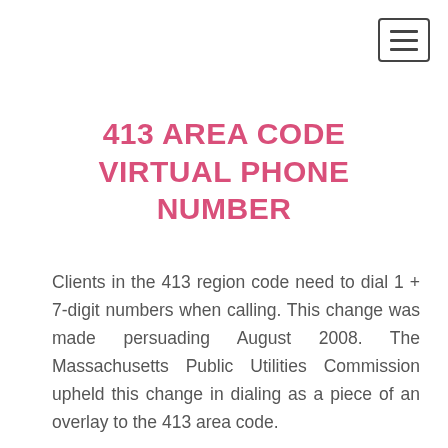[Figure (other): Hamburger menu button icon (three horizontal lines in a rounded rectangle border) in the top-right corner]
413 AREA CODE VIRTUAL PHONE NUMBER
Clients in the 413 region code need to dial 1 + 7-digit numbers when calling. This change was made persuading August 2008. The Massachusetts Public Utilities Commission upheld this change in dialing as a piece of an overlay to the 413 area code.